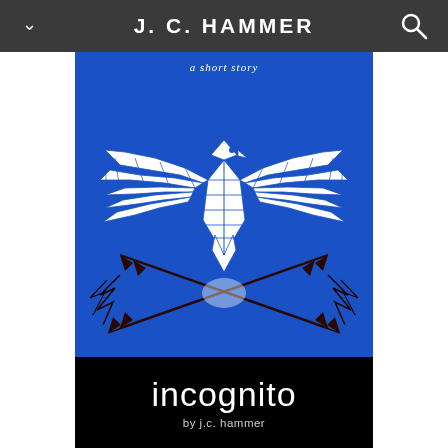J. C. HAMMER
[Figure (illustration): Book cover for 'incognito' by j.c. hammer. Blue background with a white geometric eagle with spread wings holding dark crossed arrows. Below the eagle is a black band with the title 'incognito' and byline 'by j.c. hammer'.]
a short story
incognito
by j.c. hammer